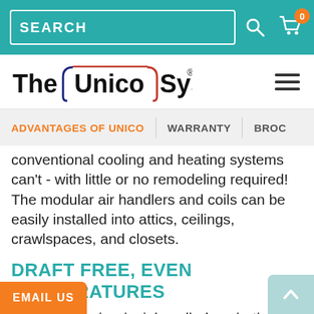SEARCH (search bar)
[Figure (logo): The Unico System logo with blue/red stylized bracket marks]
ADVANTAGES OF UNICO | WARRANTY | BROCL
conventional cooling and heating systems can't - with little or no remodeling required! The modular air handlers and coils can be easily installed into attics, ceilings, crawlspaces, and closets.
DRAFT FREE, EVEN TEMPERATURES
Through an air principle called aspiration, the Unico System air enters a room and creates a gentle suction around itself that pulls the room air into its stream of air